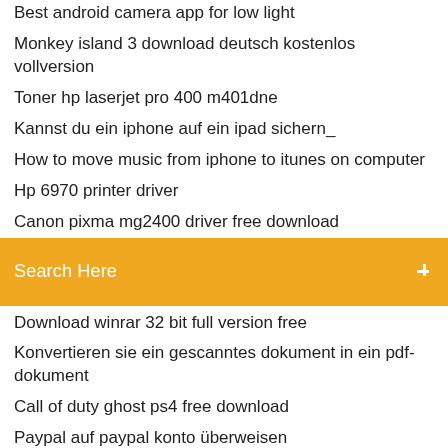Best android camera app for low light
Monkey island 3 download deutsch kostenlos vollversion
Toner hp laserjet pro 400 m401dne
Kannst du ein iphone auf ein ipad sichern_
How to move music from iphone to itunes on computer
Hp 6970 printer driver
Canon pixma mg2400 driver free download
Search Here
Download winrar 32 bit full version free
Konvertieren sie ein gescanntes dokument in ein pdf-dokument
Call of duty ghost ps4 free download
Paypal auf paypal konto überweisen
How to do multiple digital signature in pdf
Hp cp1215 treiber download
Adobe flash player 13 activex control content debugger (for ie) download
Sata treiber im bios installieren